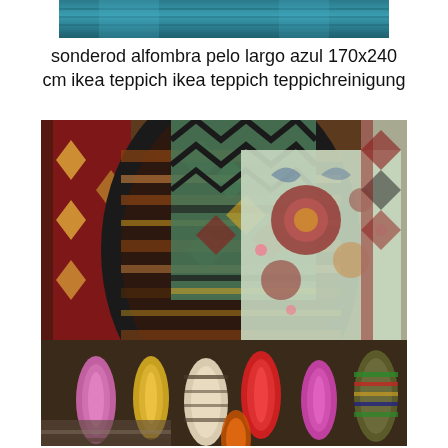[Figure (photo): Top partial image showing a teal/blue textured rug or fabric, cropped at top of page]
sonderod alfombra pelo largo azul 170x240 cm ikea teppich ikea teppich teppichreinigung
[Figure (photo): Large photograph showing a collection of colorful rugs and carpets — rolled carpets in the foreground and various patterned rugs with geometric and floral designs hanging or displayed in the background]